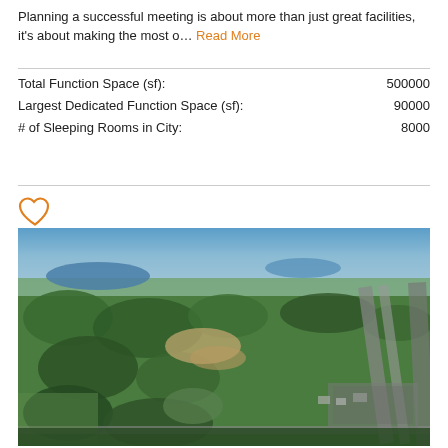Planning a successful meeting is about more than just great facilities, it's about making the most o... Read More
Total Function Space (sf): 500000
Largest Dedicated Function Space (sf): 90000
# of Sleeping Rooms in City: 8000
[Figure (photo): Aerial photo of a large suburban or rural area with green trees, open fields, roads, parking lots, and a lake visible in the background under a blue sky.]